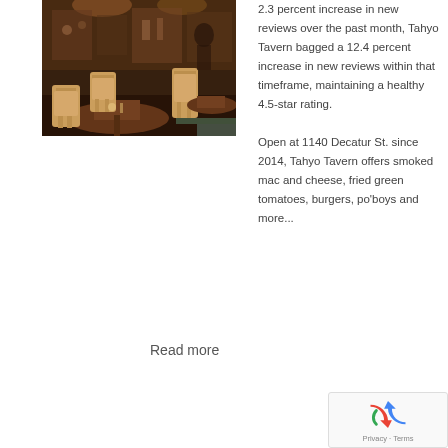[Figure (photo): Interior of Tahyo Tavern restaurant showing wooden tables and chairs in a warm, casual bar setting.]
2.3 percent increase in new reviews over the past month, Tahyo Tavern bagged a 12.4 percent increase in new reviews within that timeframe, maintaining a healthy 4.5-star rating. Open at 1140 Decatur St. since 2014, Tahyo Tavern offers smoked mac and cheese, fried green tomatoes, burgers, po'boys and more...
Read more